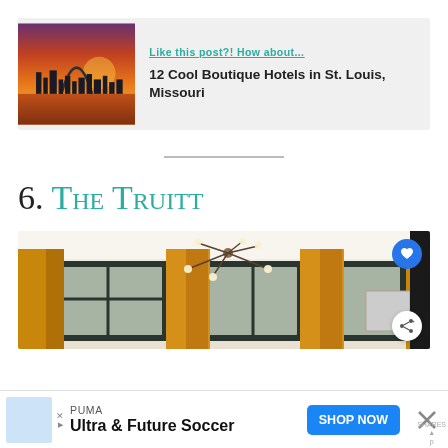[Figure (photo): Related post card with St. Louis Gateway Arch skyline photo at sunset, orange sky]
Like this post?! How about...
12 Cool Boutique Hotels in St. Louis, Missouri
6. The Truitt
[Figure (photo): Interior hotel room photo showing golden/mustard curtains, dark window frames, modern sputnik chandelier, light walls]
[Figure (other): Advertisement banner: PUMA Ultra & Future Soccer with Shop Now button]